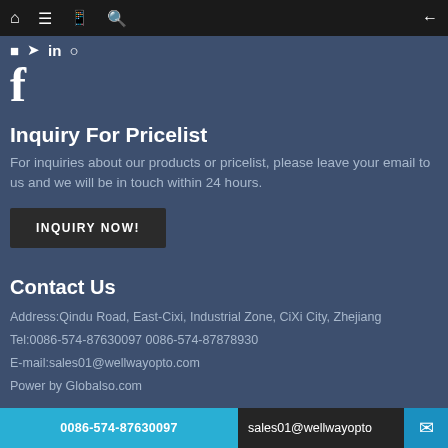Navigation bar with home, menu, bookmark, search, and back icons
[Figure (logo): Social media icons row including Facebook large icon]
Inquiry For Pricelist
For inquiries about our products or pricelist, please leave your email to us and we will be in touch within 24 hours.
INQUIRY NOW!
Contact Us
Address:Qindu Road, East-Cixi, Industrial Zone, CiXi City, Zhejiang
Tel:0086-574-87630097 0086-574-87878930
E-mail:sales01@wellwayopto.com
Power by Globalso.com
0086-574-87630097  sales01@wellwayopto